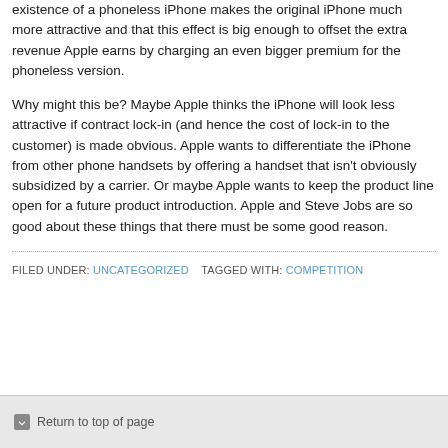existence of a phoneless iPhone makes the original iPhone much more attractive and that this effect is big enough to offset the extra revenue Apple earns by charging an even bigger premium for the phoneless version.
Why might this be? Maybe Apple thinks the iPhone will look less attractive if contract lock-in (and hence the cost of lock-in to the customer) is made obvious. Apple wants to differentiate the iPhone from other phone handsets by offering a handset that isn't obviously subsidized by a carrier. Or maybe Apple wants to keep the product line open for a future product introduction. Apple and Steve Jobs are so good about these things that there must be some good reason.
FILED UNDER: UNCATEGORIZED   TAGGED WITH: COMPETITION
Return to top of page